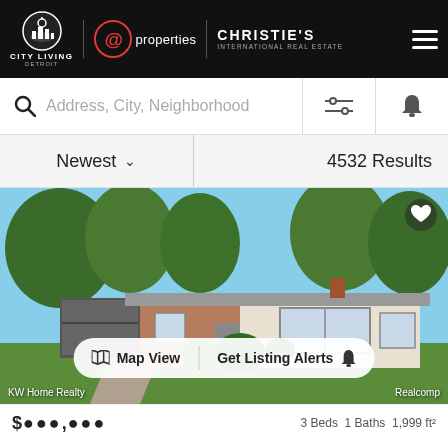City Living Detroit | @properties | Christie's International Real Estate
Address, City, Neighborhood
Newest  ∨  4532 Results
[Figure (photo): Exterior photo of a single-story ranch-style brick home with attached garage, large trees, and green lawn. KW Home Realty / Realcomp watermark.]
Map View   Get Listing Alerts
KW Home Realty
Realcomp
$●●●,●●●   3 Beds  1 Baths  1,999 ft²